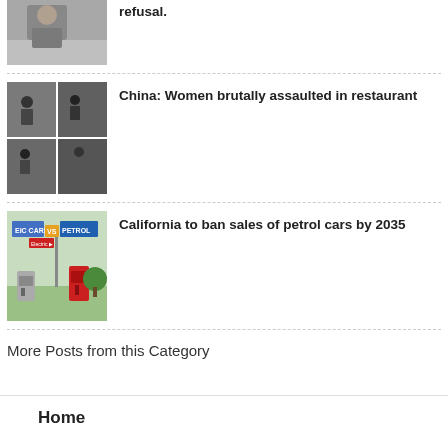refusal.
[Figure (photo): Photo of a man near a white vehicle]
[Figure (photo): 2x2 grid of photos showing women being assaulted in a restaurant]
China: Women brutally assaulted in restaurant
[Figure (photo): Image showing electric cars vs petrol cars signage with charging station]
California to ban sales of petrol cars by 2035
More Posts from this Category
Home